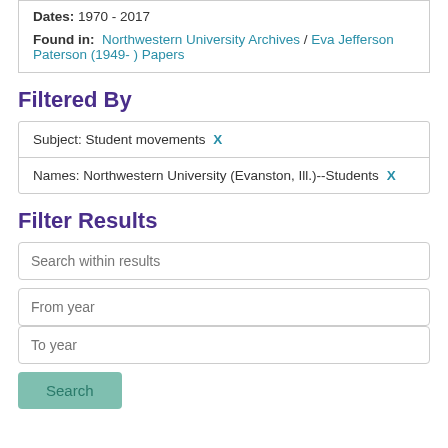Dates: 1970 - 2017
Found in: Northwestern University Archives / Eva Jefferson Paterson (1949- ) Papers
Filtered By
Subject: Student movements X
Names: Northwestern University (Evanston, Ill.)--Students X
Filter Results
Search within results
From year
To year
Search